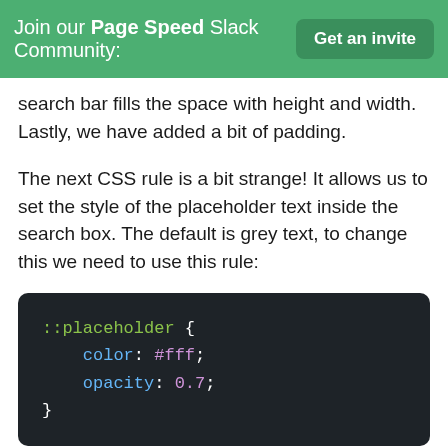Join our Page Speed Slack Community: Get an invite
search bar fills the space with height and width. Lastly, we have added a bit of padding.
The next CSS rule is a bit strange! It allows us to set the style of the placeholder text inside the search box. The default is grey text, to change this we need to use this rule:
[Figure (screenshot): Dark code block showing CSS rule: ::placeholder { color: #fff; opacity: 0.7; }]
The last CSS rules change the look and feel of